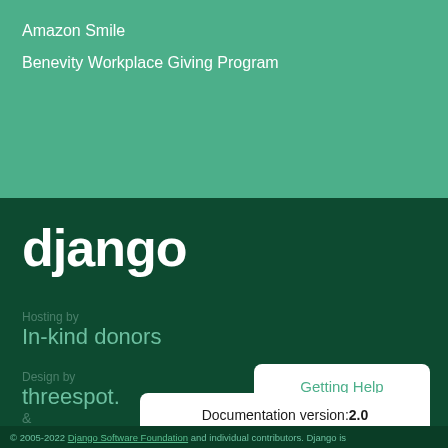Amazon Smile
Benevity Workplace Giving Program
[Figure (logo): Django logo in white text on dark green background]
Hosting by
In-kind donors
Design by
threespot.
&
andrevv
Getting Help
Language: en
Documentation version: 2.0
© 2005-2022 Django Software Foundation and individual contributors. Django is